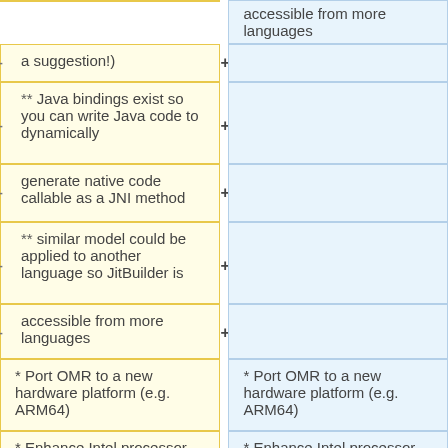| Left (before) | Right (after) |
| --- | --- |
| accessible from more languages | accessible from more languages |
| –a suggestion!) | + |
| ** Java bindings exist so you can write Java code to dynamically | + |
| generate native code callable as a JNI method | + |
| ** similar model could be applied to another language so JitBuilder is | + |
| accessible from more languages | + |
| * Port OMR to a new hardware platform (e.g. ARM64) | * Port OMR to a new hardware platform (e.g. ARM64) |
| * Enhance Intel processor vector instruction support in the OMR compiler | * Enhance Intel processor vector instruction support in the OMR compiler |